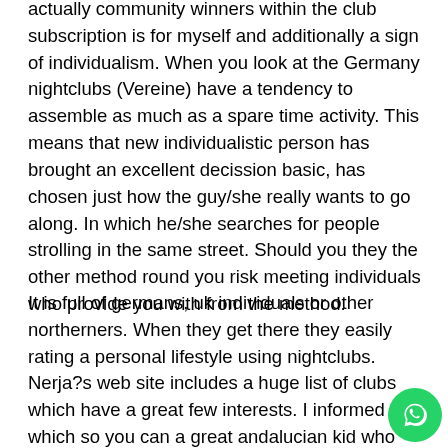actually community winners within the club subscription is for myself and additionally a sign of individualism. When you look at the Germany nightclubs (Vereine) have a tendency to assemble as much as a spare time activity. This means that new individualistic person has brought an excellent decission basic, has chosen just how the guy/she really wants to go along. In which he/she searches for people strolling in the same street. Should you they the other method round you risk meeting individuals who provide you with from the method.
It is full of germans, uk individuals or other northerners. When they get there they easily rating a personal lifestyle using nightclubs. Nerja?s web site includes a huge list of clubs which have a great few interests. I informed which so you can a great andalucian kid who works within the Barcelona, and you can would like to retire for the Nerja. I said: don?t do you think they important. So it english son arrives right here towards the July the first. by July the latest fifteenth. he has got an appointment most of the tuesday,